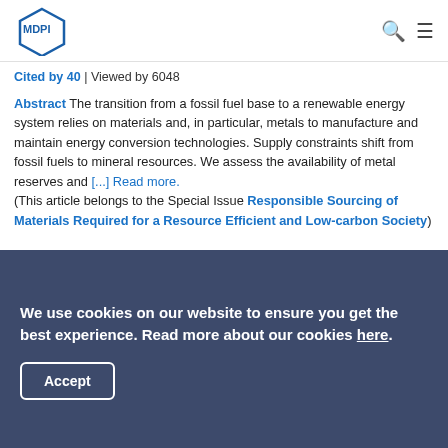MDPI logo with search and menu icons
Cited by 40 | Viewed by 6048
Abstract The transition from a fossil fuel base to a renewable energy system relies on materials and, in particular, metals to manufacture and maintain energy conversion technologies. Supply constraints shift from fossil fuels to mineral resources. We assess the availability of metal reserves and [...] Read more. (This article belongs to the Special Issue Responsible Sourcing of Materials Required for a Resource Efficient and Low-carbon Society)
► Show Figures
Open Access  Feature Paper  Article
We use cookies on our website to ensure you get the best experience. Read more about our cookies here.
Accept